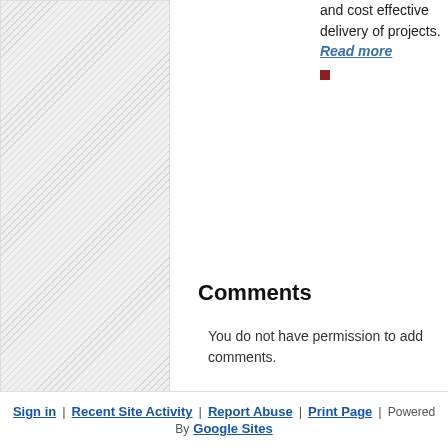[Figure (other): Hatched/diagonal pattern panel on the left side of the page]
and cost effective delivery of projects.
Read more
■
Comments
You do not have permission to add comments.
Sign in | Recent Site Activity | Report Abuse | Print Page | Powered By Google Sites